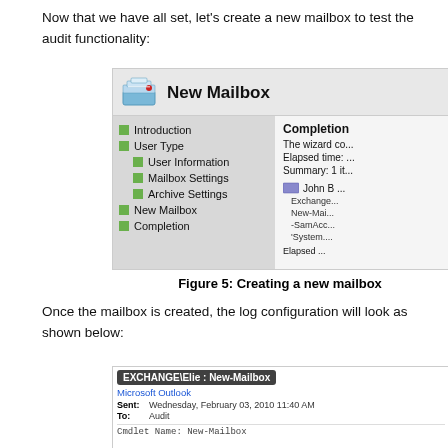Now that we have all set, let's create a new mailbox to test the audit functionality:
[Figure (screenshot): Screenshot of New Mailbox wizard dialog showing completion step with left navigation panel listing Introduction, User Type, User Information, Mailbox Settings, Archive Settings, New Mailbox, Completion steps (all with green checkmarks), and right panel showing Completion summary with elapsed time and John B entry with Exchange details.]
Figure 5: Creating a new mailbox
Once the mailbox is created, the log configuration will look as shown below:
[Figure (screenshot): Screenshot of email/log entry showing EXCHANGE\Elie : New-Mailbox from Microsoft Outlook, sent Wednesday February 03 2010 11:40 AM, to Audit, with body starting: Cmdlet Name: New-Mailbox]